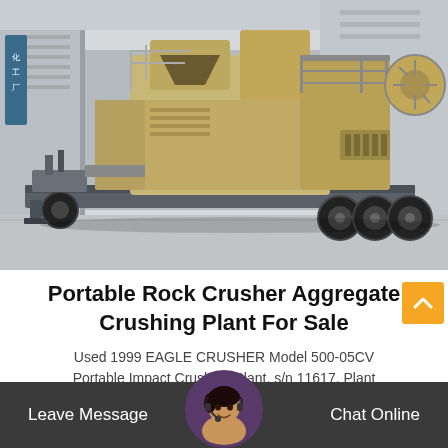[Figure (photo): Portable rock crusher aggregate crushing plant on a trailer/flatbed, photographed in an industrial facility. The machine is beige/tan colored with heavy-duty tires, metal railings, and a large impact crusher unit mounted on a wheeled chassis.]
Portable Rock Crusher Aggregate Crushing Plant For Sale
Used 1999 EAGLE CRUSHER Model 500-05CV Portable Impact Crushing Plant, s/n 11617, Plant Rated at 100-to-150 T... h 6,800 hours of use,...